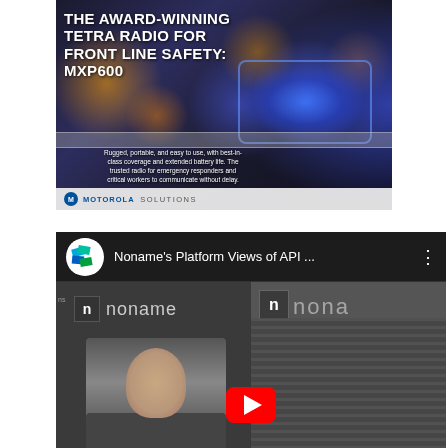[Figure (photo): Motorola Solutions advertisement image for the MXP600 TETRA radio, with dark bokeh background featuring orange and blue lights (police lights), white bold text reading 'THE AWARD-WINNING TETRA RADIO FOR FRONT LINE SAFETY: MXP600', subtitle text about rugged portable device, and Motorola Solutions logo at the bottom.]
[Figure (screenshot): YouTube video thumbnail/player showing 'Noname's Platform Views of API ...' with the Noname Security channel icon on the left, a three-dot menu icon on the right, and the video content showing a person being interviewed in front of a 'noname' branded background. A YouTube play button is visible at the bottom center.]